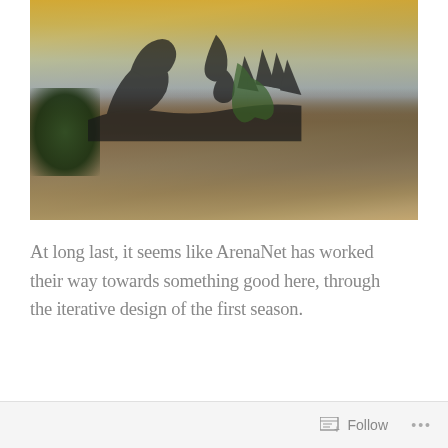[Figure (screenshot): Video game screenshot showing a fantasy landscape with rocky terrain, sparse vegetation, silhouetted dragon-like structures or twisted trees against a warm golden sky with clouds.]
At long last, it seems like ArenaNet has worked their way towards something good here, through the iterative design of the first season.
Follow ...